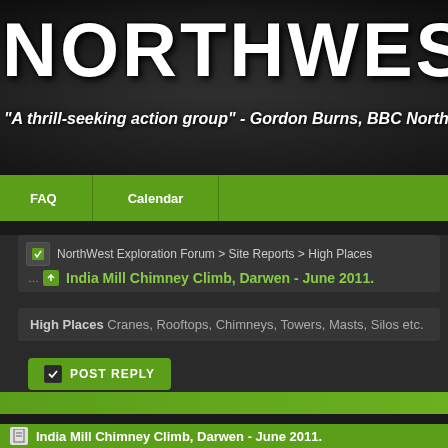NORTHWEST EXPL
"A thrill-seeking action group" - Gordon Burns, BBC North W
FAQ
Calendar
NorthWest Exploration Forum > Site Reports > High Places
India Mill Chimney Climb, Darwen - June 2011.
High Places Cranes, Rooftops, Chimneys, Towers, Masts, Silos etc.
POST REPLY
India Mill Chimney Climb, Darwen - June 2011.
Ojay is Offline
admin